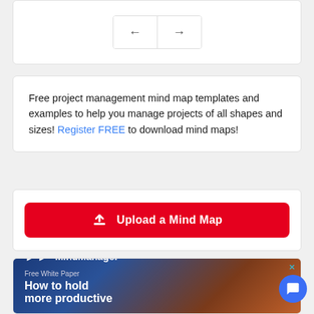[Figure (screenshot): Navigation card with left and right arrow buttons in a bordered box]
Free project management mind map templates and examples to help you manage projects of all shapes and sizes! Register FREE to download mind maps!
[Figure (screenshot): Red upload button labeled 'Upload a Mind Map' with an upload icon]
[Figure (screenshot): MindManager advertisement banner with blue-orange gradient background showing logo, 'Free White Paper' text, and 'How to hold more productive' heading]